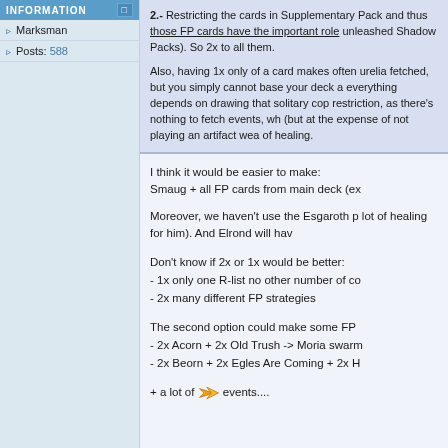INFORMATION
Marksman
Posts: 588
2.- Restricting the cards in Supplementary Packs and thus those FP cards have the important role unleashed Shadow Packs). So 2x to all them.
Also, having 1x only of a card makes often unrelia fetched, but you simply cannot base your deck a everything depends on drawing that solitary cop restriction, as there's nothing to fetch events, wh (but at the expense of not playing an artifact wea of healing.
I think it would be easier to make:
Smaug + all FP cards from main deck (ex
Moreover, we haven't use the Esgaroth p lot of healing for him). And Elrond will hav
Don't know if 2x or 1x would be better:
- 1x only one R-list no other number of co
- 2x many different FP strategies
The second option could make some FP
- 2x Acorn + 2x Old Trush -> Moria swarm
- 2x Beorn + 2x Egles Are Coming + 2x H
+ a lot of events....